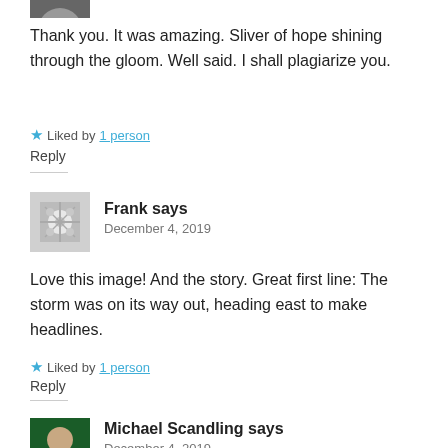[Figure (photo): Partial avatar image cropped at top of page]
Thank you. It was amazing. Sliver of hope shining through the gloom. Well said. I shall plagiarize you.
★ Liked by 1 person
Reply
[Figure (photo): Snowflake/geometric pattern avatar for Frank]
Frank says
December 4, 2019
Love this image! And the story. Great first line: The storm was on its way out, heading east to make headlines.
★ Liked by 1 person
Reply
[Figure (photo): Avatar photo of Michael Scandling]
Michael Scandling says
December 4, 2019